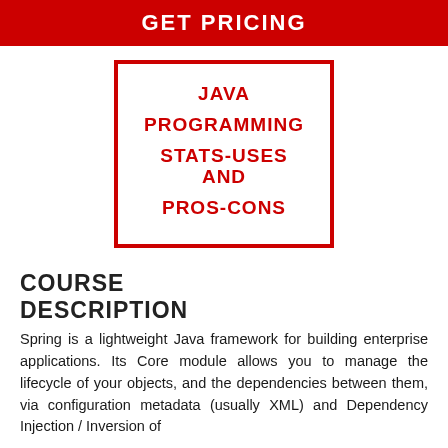GET PRICING
JAVA PROGRAMMING STATS-USES AND PROS-CONS
COURSE DESCRIPTION
Spring is a lightweight Java framework for building enterprise applications. Its Core module allows you to manage the lifecycle of your objects, and the dependencies between them, via configuration metadata (usually XML) and Dependency Injection / Inversion of